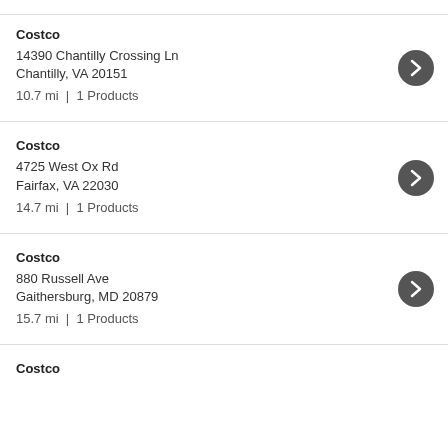Costco | 14390 Chantilly Crossing Ln, Chantilly, VA 20151 | 10.7 mi | 1 Products
Costco | 4725 West Ox Rd, Fairfax, VA 22030 | 14.7 mi | 1 Products
Costco | 880 Russell Ave, Gaithersburg, MD 20879 | 15.7 mi | 1 Products
Costco